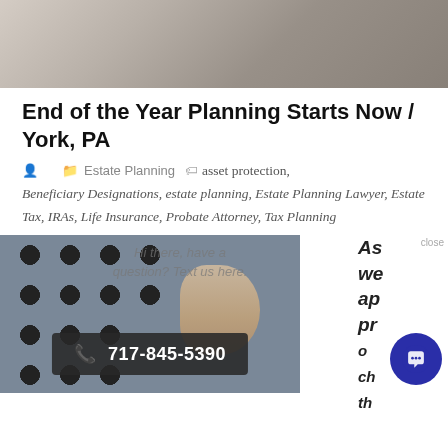[Figure (photo): Blurred gray/beige background photo at top of page, partial crop]
End of the Year Planning Starts Now / York, PA
Estate Planning  asset protection, Beneficiary Designations, estate planning, Estate Planning Lawyer, Estate Tax, IRAs, Life Insurance, Probate Attorney, Tax Planning
[Figure (photo): Close-up photo of a hand pressing number keys on a calculator/keypad, with a phone number bar overlay showing 717-845-5390 and a chat bubble button]